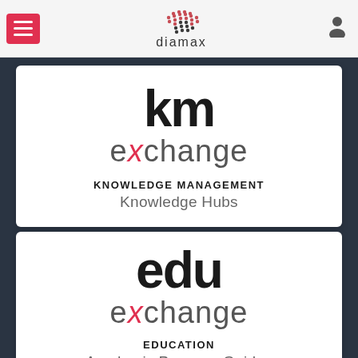diamax navigation header with hamburger menu and user icon
[Figure (logo): km exchange logo - bold 'km' text with 'exchange' below, the 'x' in exchange is red/pink]
KNOWLEDGE MANAGEMENT
Knowledge Hubs
[Figure (logo): edu exchange logo - bold 'edu' text with 'exchange' below, the 'x' in exchange is red/pink]
EDUCATION
Academic Program Guides